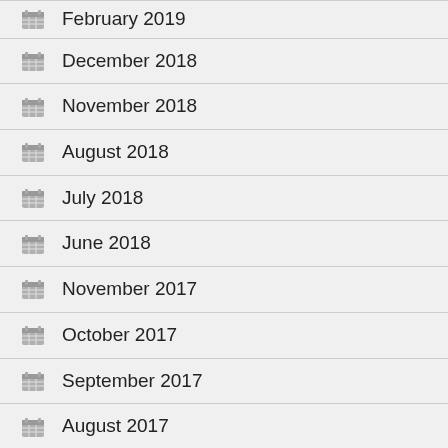February 2019
December 2018
November 2018
August 2018
July 2018
June 2018
November 2017
October 2017
September 2017
August 2017